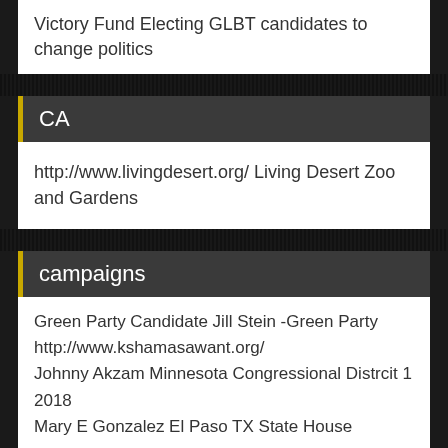Victory Fund Electing GLBT candidates to change politics
CA
http://www.livingdesert.org/ Living Desert Zoo and Gardens
campaigns
Green Party Candidate Jill Stein -Green Party http://www.kshamasawant.org/ Johnny Akzam Minnesota Congressional Distrcit 1 2018 Mary E Gonzalez El Paso TX State House